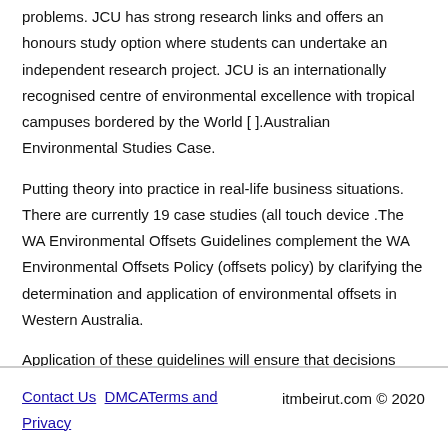problems. JCU has strong research links and offers an honours study option where students can undertake an independent research project. JCU is an internationally recognised centre of environmental excellence with tropical campuses bordered by the World [ ].Australian Environmental Studies Case.
Putting theory into practice in real-life business situations. There are currently 19 case studies (all touch device .The WA Environmental Offsets Guidelines complement the WA Environmental Offsets Policy (offsets policy) by clarifying the determination and application of environmental offsets in Western Australia.
Application of these guidelines will ensure that decisions made on environmental .
Contact Us   DMCATerms and Privacy   itmbeirut.com © 2020